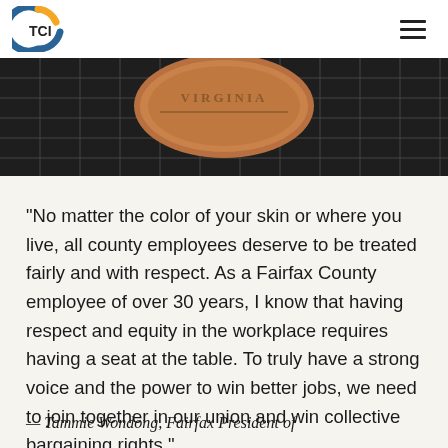TCI
[Figure (photo): Close-up photograph of a bronze or copper seal/emblem with the word VIRGINIA visible, resting on a dark tiled grid surface.]
“No matter the color of your skin or where you live, all county employees deserve to be treated fairly and with respect. As a Fairfax County employee of over 30 years, I know that having respect and equity in the workplace requires having a seat at the table. To truly have a strong voice and the power to win better jobs, we need to join together in our union and win collective bargaining rights.”
— Tammie Wondong, Fairfax President of